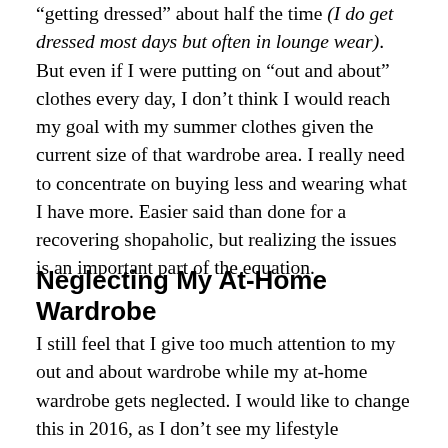“getting dressed” about half the time (I do get dressed most days but often in lounge wear).  But even if I were putting on “out and about” clothes every day, I don’t think I would reach my goal with my summer clothes given the current size of that wardrobe area.  I really need to concentrate on buying less and wearing what I have more.  Easier said than done for a recovering shopaholic, but realizing the issues is an important part of the equation.
Neglecting My At-Home Wardrobe
I still feel that I give too much attention to my out and about wardrobe while my at-home wardrobe gets neglected.  I would like to change this in 2016, as I don’t see my lifestyle changing much in the near future. I want to up-level my at-home wardrobe so that I feel comfortable